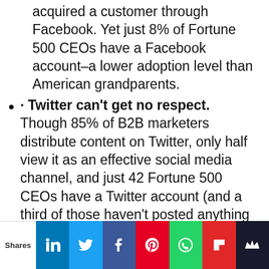acquired a customer through Facebook. Yet just 8% of Fortune 500 CEOs have a Facebook account–a lower adoption level than American grandparents.
• Twitter can't get no respect. Though 85% of B2B marketers distribute content on Twitter, only half view it as an effective social media channel, and just 42 Fortune 500 CEOs have a Twitter account (and a third of those haven't posted anything in the last 100 days). Yet 75% of journalists use Twitter to build their personal brands, and Twitter drives more web visits than StumbleUpon, Reddit, Google+, YouTube, and LinkedIn–combined.
• And LinkedIn means business... 40% of B2B buyers say LinkedIn is important when
Shares [LinkedIn] [Twitter] [Facebook] [Pinterest] [WhatsApp] [Flipboard] [Crown]